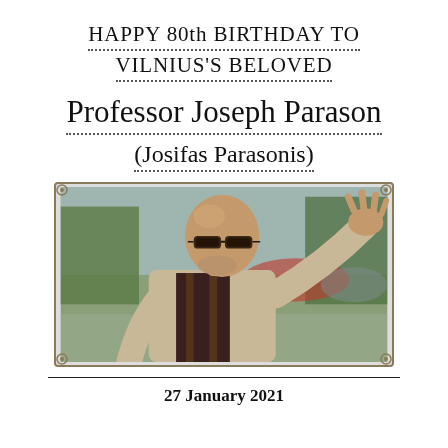HAPPY 80th BIRTHDAY TO VILNIUS'S BELOVED
Professor Joseph Parason
(Josifas Parasonis)
[Figure (photo): Elderly bald man with dark glasses, wearing a light jacket, gesturing with his right hand raised, outdoors with blurred cars and trees in background]
27 January 2021